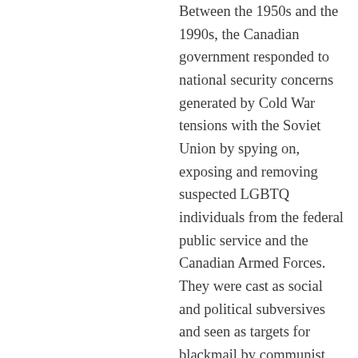Between the 1950s and the 1990s, the Canadian government responded to national security concerns generated by Cold War tensions with the Soviet Union by spying on, exposing and removing suspected LGBTQ individuals from the federal public service and the Canadian Armed Forces. They were cast as social and political subversives and seen as targets for blackmail by communist regimes seeking classified information. These